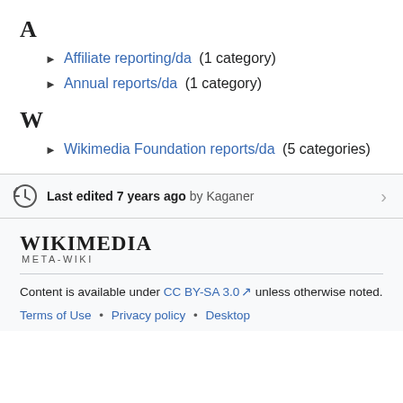A
Affiliate reporting/da (1 category)
Annual reports/da (1 category)
W
Wikimedia Foundation reports/da (5 categories)
Last edited 7 years ago by Kaganer
[Figure (logo): Wikimedia Meta-Wiki logo text]
Content is available under CC BY-SA 3.0 unless otherwise noted.
Terms of Use • Privacy policy • Desktop